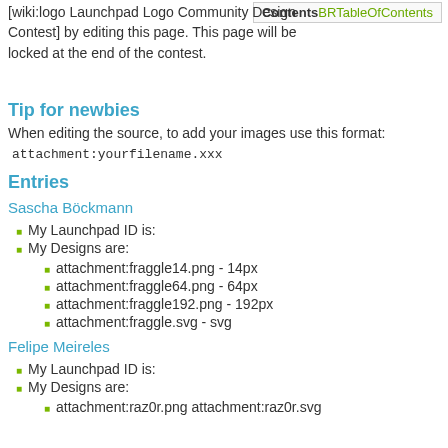[wiki:logo Launchpad Logo Community Design Contest] by editing this page. This page will be locked at the end of the contest.
ContentsBRTableOfContents
Tip for newbies
When editing the source, to add your images use this format:
Entries
Sascha Böckmann
My Launchpad ID is:
My Designs are:
attachment:fraggle14.png - 14px
attachment:fraggle64.png - 64px
attachment:fraggle192.png - 192px
attachment:fraggle.svg - svg
Felipe Meireles
My Launchpad ID is:
My Designs are:
attachment:raz0r.png attachment:raz0r.svg